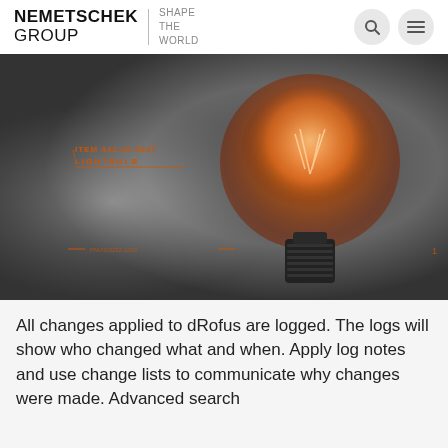NEMETSCHEK GROUP | SHAPE THE WORLD
[Figure (photo): A glowing orange vintage Edison lightbulb on a dark background, with annotation overlay text reading ITEM 442.02.003T LIGHTBULB]
All changes applied to dRofus are logged. The logs will show who changed what and when. Apply log notes and use change lists to communicate why changes were made. Advanced search